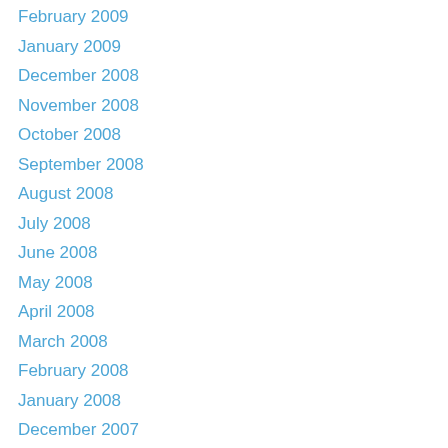February 2009
January 2009
December 2008
November 2008
October 2008
September 2008
August 2008
July 2008
June 2008
May 2008
April 2008
March 2008
February 2008
January 2008
December 2007
November 2007
October 2007
September 2007
August 2007